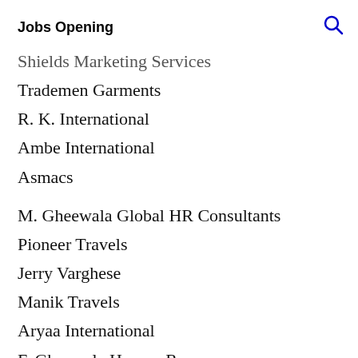Jobs Opening
Shields Marketing Services
Trademen Garments
R. K. International
Ambe International
Asmacs
M. Gheewala Global HR Consultants
Pioneer Travels
Jerry Varghese
Manik Travels
Aryaa International
F. Gheewala Human Resource